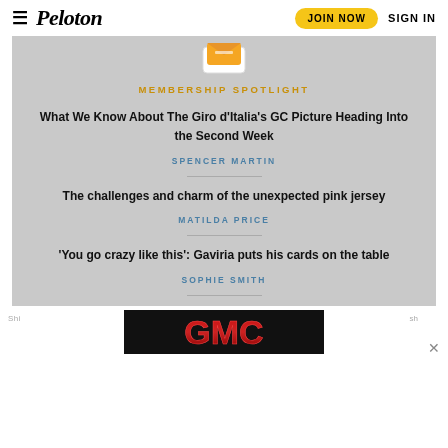Peloton — JOIN NOW  SIGN IN
MEMBERSHIP SPOTLIGHT
What We Know About The Giro d'Italia's GC Picture Heading Into the Second Week
SPENCER MARTIN
The challenges and charm of the unexpected pink jersey
MATILDA PRICE
'You go crazy like this': Gaviria puts his cards on the table
SOPHIE SMITH
[Figure (logo): GMC advertisement logo banner at the bottom of the page]